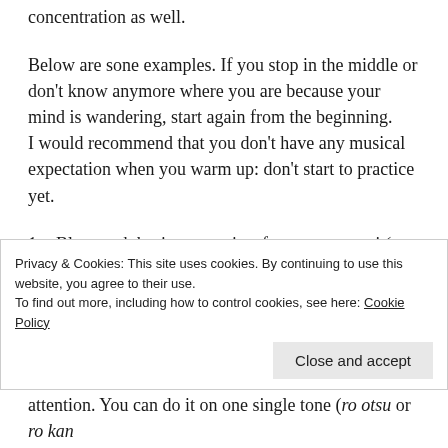concentration as well.
Below are sone examples. If you stop in the middle or don't know anymore where you are because your mind is wandering, start again from the beginning.
I would recommend that you don't have any musical expectation when you warm up: don't start to practice yet.
Blow each basic tone twice, from ro otsu to i (go no hi) kan and back. No stop, no repetition. No judgement, no expectations. Just blowing, listening to yourself, checking the tensions in your body, relaxing them, paying attention to the fingers you use for starting the tone, repeating it, ending it, and going to the next tone. There's already a lot...
Privacy & Cookies: This site uses cookies. By continuing to use this website, you agree to their use.
To find out more, including how to control cookies, see here: Cookie Policy
Close and accept
attention. You can do it on one single tone (ro otsu or ro kan